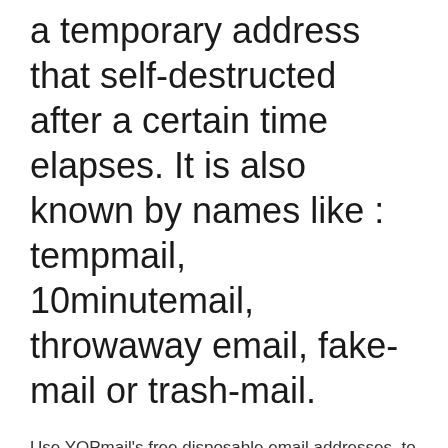a temporary address that self-destructed after a certain time elapses. It is also known by names like : tempmail, 10minutemail, throwaway email, fake-mail or trash-mail.
Use YOPmail's free disposable email addresses, to protect you against spam and phishing. Use 'any-name-of-your-choice'@yopmail.com to sign up anywhere. Email sent to the 'address'@yopmail.com is instantaneously created at YOPmail server. No registration required for checking your temporary inbox at YOPmail LuxusMail is free and always will be. Create your first Temporary Disposable Email address in just a click. Protect yourself and stay no to Spam mails. Emails are constantly being securely deleted 4 Reasons to use an